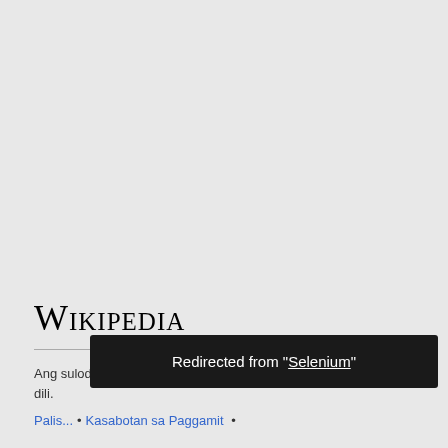Wikipedia
Ang sulod magamit ubos sa CC BY-SA 3.0 gawas kon giingong dili.
Redirected from "Selenium"
Palis... • Kasabotan sa Paggamit •